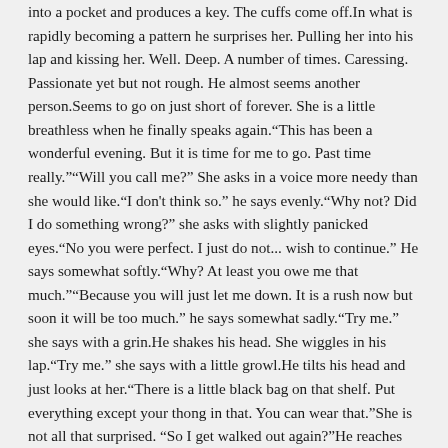into a pocket and produces a key. The cuffs come off.In what is rapidly becoming a pattern he surprises her. Pulling her into his lap and kissing her. Well. Deep. A number of times. Caressing. Passionate yet but not rough. He almost seems another person.Seems to go on just short of forever. She is a little breathless when he finally speaks again."This has been a wonderful evening. But it is time for me to go. Past time really.""Will you call me?" She asks in a voice more needy than she would like."I don't think so." he says evenly."Why not? Did I do something wrong?" she asks with slightly panicked eyes."No you were perfect. I just do not... wish to continue." He says somewhat softly."Why? At least you owe me that much.""Because you will just let me down. It is a rush now but soon it will be too much." he says somewhat sadly."Try me." she says with a grin.He shakes his head. She wiggles in his lap."Try me." she says with a little growl.He tilts his head and just looks at her."There is a little black bag on that shelf. Put everything except your thong in that. You can wear that."She is not all that surprised. “So I get walked out again?"He reaches for the cuffs."Yes.